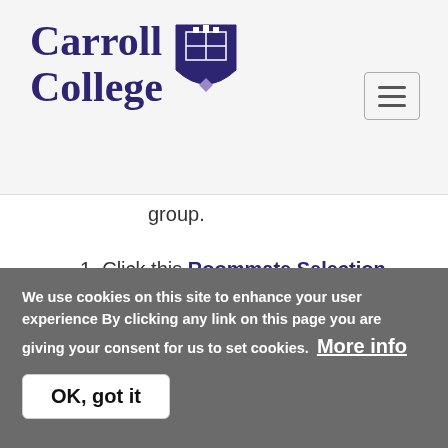Carroll College
group.
1. Click this Roommate Selection Guide ↗ for the roommate selection process!
3. Confirmation of final assignments for applications before May 18th will arrive by June 1, 2022.
We use cookies on this site to enhance your user experienceBy clicking any link on this page you are giving your consent for us to set cookies. More info
OK, got it